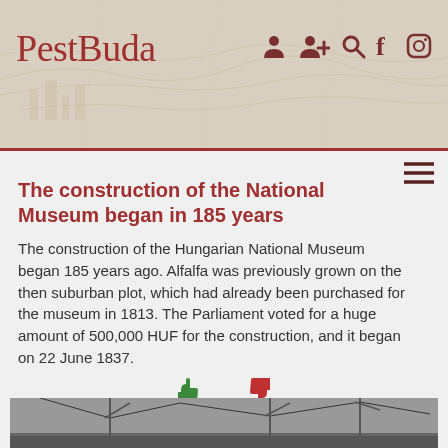PestBuda
The construction of the National Museum began in 185 years
The construction of the Hungarian National Museum began 185 years ago. Alfalfa was previously grown on the then suburban plot, which had already been purchased for the museum in 1813. The Parliament voted for a huge amount of 500,000 HUF for the construction, and it began on 22 June 1837.
[Figure (photo): Black and white photograph showing overhead tram or trolleybus wires above a street scene]